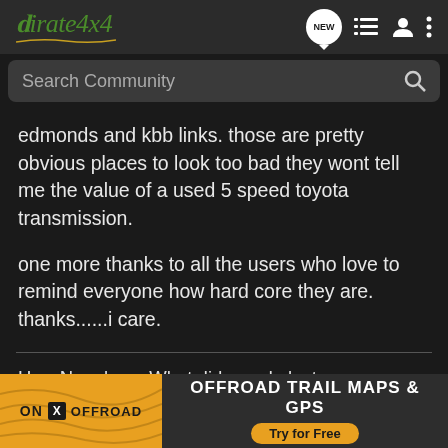Pirate4x4 — navigation header with search bar
edmonds and kbb links. those are pretty obvious places to look too bad they wont tell me the value of a used 5 speed toyota transmission.
one more thanks to all the users who love to remind everyone how hard core they are. thanks......i care.
Hey, Napoleon. What did you do last summer again?
[Figure (screenshot): ON X OFFROAD advertisement banner — Offroad Trail Maps & GPS, Try for Free]